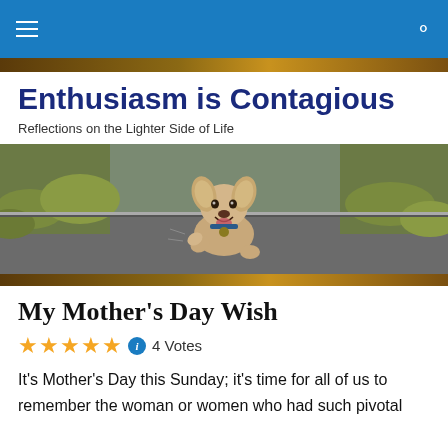Navigation bar with hamburger menu and search icon
Enthusiasm is Contagious
Reflections on the Lighter Side of Life
[Figure (photo): A small fluffy dog running happily toward the camera on a road, with grass in the background]
My Mother's Day Wish
4 Votes
It's Mother's Day this Sunday; it's time for all of us to remember the woman or women who had such pivotal